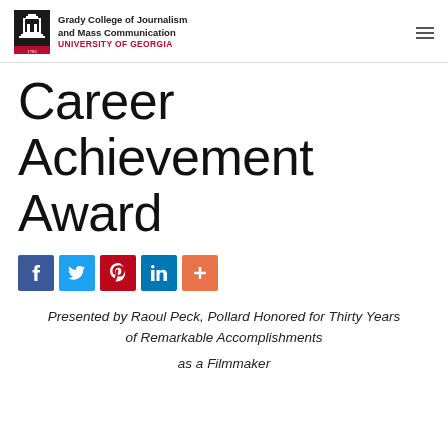Grady College of Journalism and Mass Communication UNIVERSITY OF GEORGIA
Career Achievement Award
[Figure (infographic): Social share buttons: Facebook (blue), Twitter (light blue), Pinterest (red), LinkedIn (dark blue), More/plus (orange-red)]
Presented by Raoul Peck, Pollard Honored for Thirty Years of Remarkable Accomplishments as a Filmmaker